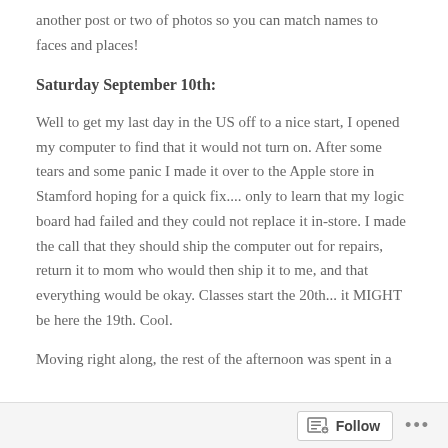another post or two of photos so you can match names to faces and places!
Saturday September 10th:
Well to get my last day in the US off to a nice start, I opened my computer to find that it would not turn on. After some tears and some panic I made it over to the Apple store in Stamford hoping for a quick fix.... only to learn that my logic board had failed and they could not replace it in-store. I made the call that they should ship the computer out for repairs, return it to mom who would then ship it to me, and that everything would be okay. Classes start the 20th... it MIGHT be here the 19th. Cool.
Moving right along, the rest of the afternoon was spent in a